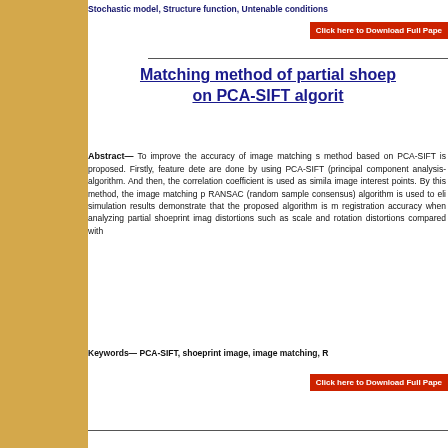Stochastic model, Structure function, Untenable conditions
Matching method of partial shoeprint image based on PCA-SIFT algorithm
Abstract— To improve the accuracy of image matching s... method based on PCA-SIFT is proposed. Firstly, feature dete... are done by using PCA-SIFT (principal component analysis-... algorithm. And then, the correlation coefficient is used as simila... image interest points. By this method, the image matching p... RANSAC (random sample consensus) algorithm is used to eli... simulation results demonstrate that the proposed algorithm is m... registration accuracy when analyzing partial shoeprint imag... distortions such as scale and rotation distortions compared with...
Keywords— PCA-SIFT, shoeprint image, image matching, R...